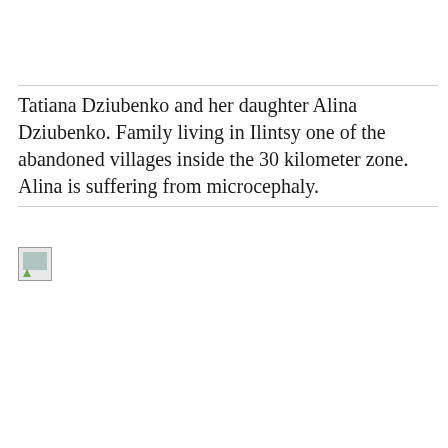Tatiana Dziubenko and her daughter Alina Dziubenko. Family living in Ilintsy one of the abandoned villages inside the 30 kilometer zone. Alina is suffering from microcephaly.
[Figure (photo): A photograph (broken/missing image) of Tatiana Dziubenko and her daughter Alina Dziubenko in Ilintsy village.]